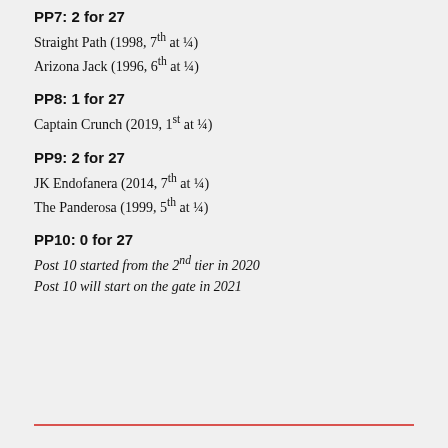PP7: 2 for 27
Straight Path (1998, 7th at ¼)
Arizona Jack (1996, 6th at ¼)
PP8: 1 for 27
Captain Crunch (2019, 1st at ¼)
PP9: 2 for 27
JK Endofanera (2014, 7th at ¼)
The Panderosa (1999, 5th at ¼)
PP10: 0 for 27
Post 10 started from the 2nd tier in 2020
Post 10 will start on the gate in 2021